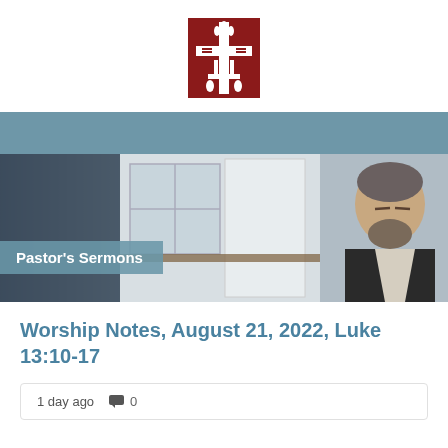[Figure (logo): Presbyterian Church USA logo — dark red square with white cross, open Bible, and flame symbol]
[Figure (photo): Blue banner header area followed by photo of a pastor in black robe with white stole, head bowed, standing in front of a white paneled door and curtained window]
Pastor's Sermons
Worship Notes, August 21, 2022, Luke 13:10-17
1 day ago   💬 0